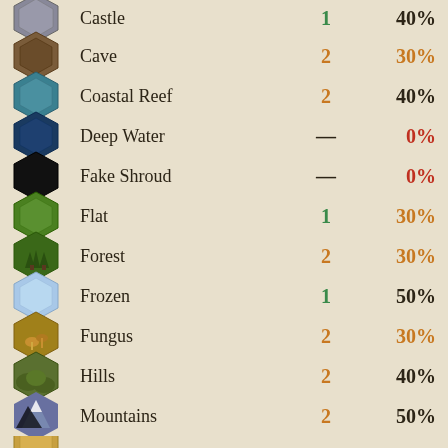| Terrain | Name | Move Cost | Defense |
| --- | --- | --- | --- |
| Castle | Castle | 1 | 40% |
| Cave | Cave | 2 | 30% |
| Coastal Reef | Coastal Reef | 2 | 40% |
| Deep Water | Deep Water | — | 0% |
| Fake Shroud | Fake Shroud | — | 0% |
| Flat | Flat | 1 | 30% |
| Forest | Forest | 2 | 30% |
| Frozen | Frozen | 1 | 50% |
| Fungus | Fungus | 2 | 30% |
| Hills | Hills | 2 | 40% |
| Mountains | Mountains | 2 | 50% |